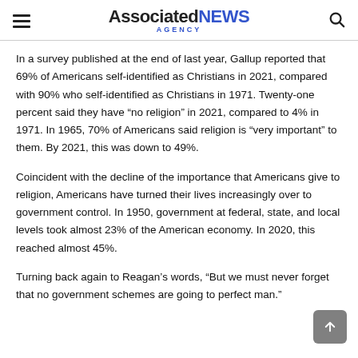AssociatedNEWS AGENCY
In a survey published at the end of last year, Gallup reported that 69% of Americans self-identified as Christians in 2021, compared with 90% who self-identified as Christians in 1971. Twenty-one percent said they have “no religion” in 2021, compared to 4% in 1971. In 1965, 70% of Americans said religion is “very important” to them. By 2021, this was down to 49%.
Coincident with the decline of the importance that Americans give to religion, Americans have turned their lives increasingly over to government control. In 1950, government at federal, state, and local levels took almost 23% of the American economy. In 2020, this reached almost 45%.
Turning back again to Reagan’s words, “But we must never forget that no government schemes are going to perfect man.”